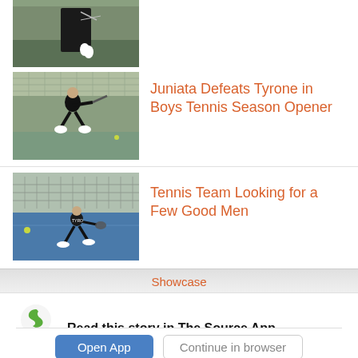[Figure (photo): Tennis player on court, partially visible at top of page]
[Figure (photo): Tennis player in black shirt hitting a shot on a tennis court with fence in background]
Juniata Defeats Tyrone in Boys Tennis Season Opener
[Figure (photo): Tennis player in dark shirt on blue tennis court chasing a ball]
Tennis Team Looking for a Few Good Men
Showcase
[Figure (logo): Student News Source app logo — green S icon with text STUDENT NEWS SOURCE]
Read this story in The Source App...